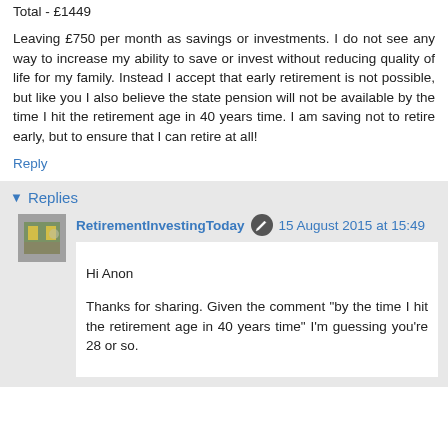Discretionary spending and family events - £148
Total - £1449
Leaving £750 per month as savings or investments. I do not see any way to increase my ability to save or invest without reducing quality of life for my family. Instead I accept that early retirement is not possible, but like you I also believe the state pension will not be available by the time I hit the retirement age in 40 years time. I am saving not to retire early, but to ensure that I can retire at all!
Reply
Replies
RetirementInvestingToday 15 August 2015 at 15:49
Hi Anon

Thanks for sharing. Given the comment "by the time I hit the retirement age in 40 years time" I'm guessing you're 28 or so.